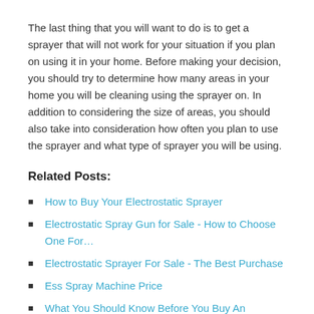The last thing that you will want to do is to get a sprayer that will not work for your situation if you plan on using it in your home. Before making your decision, you should try to determine how many areas in your home you will be cleaning using the sprayer on. In addition to considering the size of areas, you should also take into consideration how often you plan to use the sprayer and what type of sprayer you will be using.
Related Posts:
How to Buy Your Electrostatic Sprayer
Electrostatic Spray Gun for Sale - How to Choose One For…
Electrostatic Sprayer For Sale - The Best Purchase
Ess Spray Machine Price
What You Should Know Before You Buy An Electrostatic Sprayer…